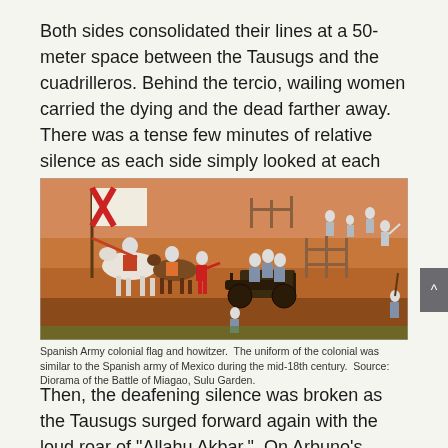Both sides consolidated their lines at a 50-meter space between the Tausugs and the cuadrilleros. Behind the tercio, wailing women carried the dying and the dead farther away.  There was a tense few minutes of relative silence as each side simply looked at each other with hate and malevolence.
[Figure (photo): A diorama showing Spanish Army colonial soldiers with a flag bearing a red cross, horses, a howitzer cannon, and soldiers in blue-grey uniforms on a reddish-brown terrain.]
Spanish Army colonial flag and howitzer.  The uniform of the colonial was similar to the Spanish army of Mexico during the mid-18th century.  Source: Diorama of the Battle of Miagao, Sulu Garden.
Then, the deafening silence was broken as the Tausugs surged forward again with the loud roar of "Allahu Akbar."  On Arbuno's command, the tercio